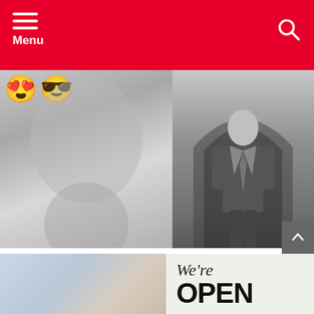Menu
[Figure (photo): Two-panel black and white wedding photo: left panel shows the back of a bride with upswept hair, emoji overlays (heart-eyes and sunglasses) at top left; right panel shows a bald man in a suit standing in a doorway with an open-mouthed surprised expression.]
15 Heartwarming Wedding Pictures Of Brides And Their Dads
[Figure (photo): Bottom strip showing two images: left is a partial light blue/beige image, right shows a sign reading 'We're OPEN' in large text.]